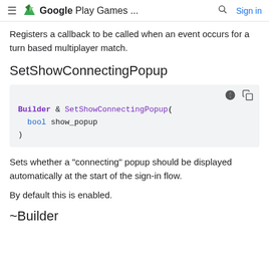Google Play Games ...
Registers a callback to be called when an event occurs for a turn based multiplayer match.
SetShowConnectingPopup
[Figure (screenshot): Code block showing: Builder & SetShowConnectingPopup(
  bool show_popup
)]
Sets whether a "connecting" popup should be displayed automatically at the start of the sign-in flow.
By default this is enabled.
~Builder